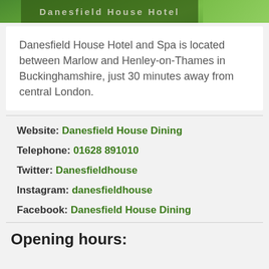[Figure (photo): Banner image of Danesfield House Hotel with green foliage background and hotel name text overlay]
Danesfield House Hotel and Spa is located between Marlow and Henley-on-Thames in Buckinghamshire, just 30 minutes away from central London.
Website: Danesfield House Dining
Telephone: 01628 891010
Twitter: Danesfieldhouse
Instagram: danesfieldhouse
Facebook: Danesfield House Dining
Opening hours: